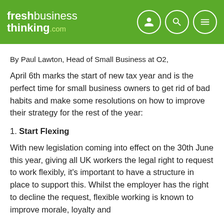freshbusiness thinking.com
By Paul Lawton, Head of Small Business at O2,
April 6th marks the start of new tax year and is the perfect time for small business owners to get rid of bad habits and make some resolutions on how to improve their strategy for the rest of the year:
1. Start Flexing
With new legislation coming into effect on the 30th June this year, giving all UK workers the legal right to request to work flexibly, it's important to have a structure in place to support this. Whilst the employer has the right to decline the request, flexible working is known to improve morale, loyalty and